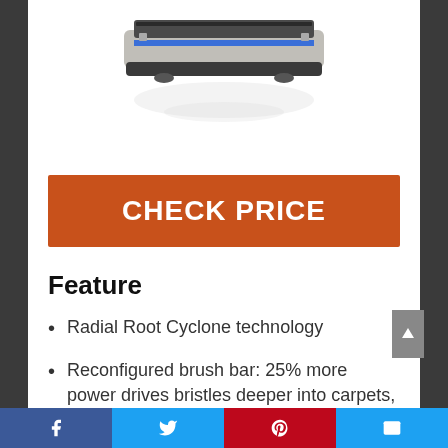[Figure (photo): Vacuum cleaner brush head / floor tool, viewed from front, shown against white background with slight reflection below.]
CHECK PRICE
Feature
Radial Root Cyclone technology
Reconfigured brush bar: 25% more power drives bristles deeper into carpets, removing more dirt
Tangle-free Turbine tool: The only